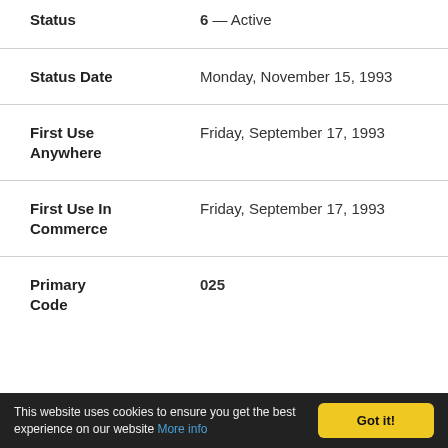| Field | Value |
| --- | --- |
| Status | 6 — Active |
| Status Date | Monday, November 15, 1993 |
| First Use Anywhere | Friday, September 17, 1993 |
| First Use In Commerce | Friday, September 17, 1993 |
| Primary Code | 025 |
This website uses cookies to ensure you get the best experience on our website More info Got it!